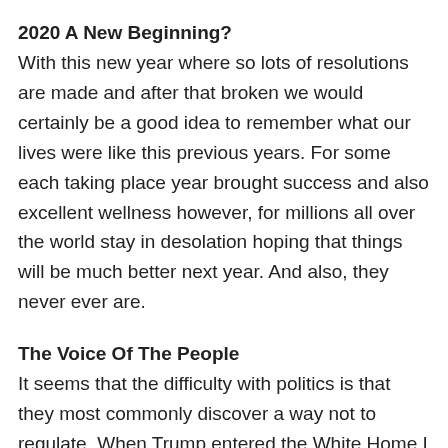2020 A New Beginning?
With this new year where so lots of resolutions are made and after that broken we would certainly be a good idea to remember what our lives were like this previous years. For some each taking place year brought success and also excellent wellness however, for millions all over the world stay in desolation hoping that things will be much better next year. And also, they never ever are.
The Voice Of The People
It seems that the difficulty with politics is that they most commonly discover a way not to regulate. When Trump entered the White Home I presume he never ever actually understood just how to control as well as a result so did other members of congress. The disorderly years since the